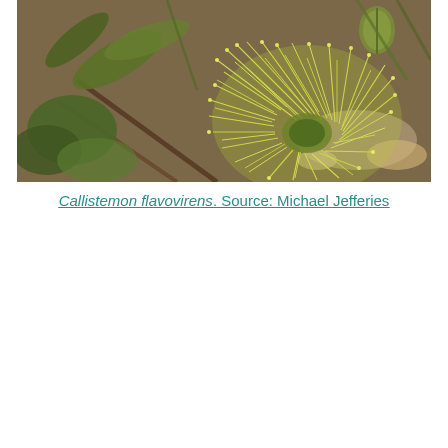[Figure (photo): Close-up photograph of Callistemon flavovirens (green bottlebrush) showing bright yellow-green spiky flower stamens against a blurred background of brown soil, rocks, and green foliage.]
Callistemon flavovirens. Source: Michael Jefferies